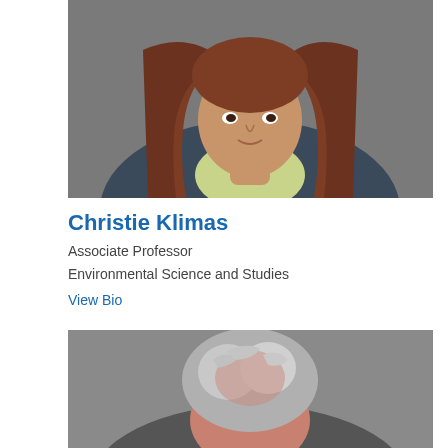[Figure (photo): Profile photo of Christie Klimas, a woman with long reddish-brown hair wearing a yellow-green top and dark jacket, cropped at the face/upper torso.]
Christie Klimas
Associate Professor
Environmental Science and Studies
View Bio
[Figure (photo): Profile photo of an older man with white/gray hair, viewed from above and slightly behind, against a gray background.]